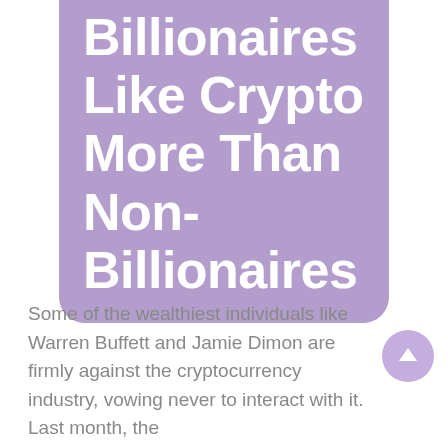Billionaires Like Crypto More Than Non-Billionaires
Some of the wealthiest individuals like Warren Buffett and Jamie Dimon are firmly against the cryptocurrency industry, vowing never to interact with it. Last month, the